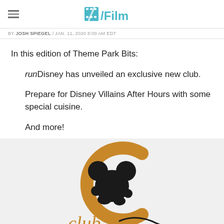/Film
BY JOSH SPIEGEL / JAN. 11, 2020 8:00 AM EDT
In this edition of Theme Park Bits:
runDisney has unveiled an exclusive new club.
Prepare for Disney Villains After Hours with some special cuisine.
And more!
[Figure (logo): runDisney Club logo featuring Mickey Mouse silhouette inside a golden C-shape circle with 'club' text in script below]